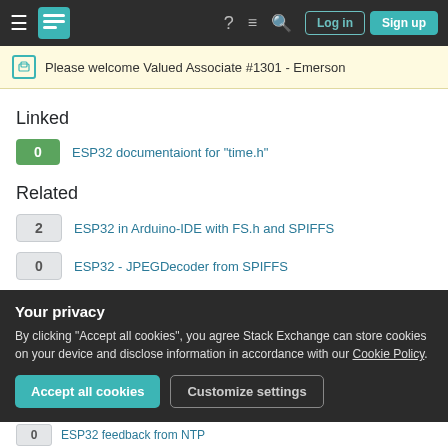Stack Exchange navigation bar with Log in and Sign up buttons
Please welcome Valued Associate #1301 - Emerson
Linked
0 — ESP32 documentaiont for "time.h"
Related
2 — ESP32 in Arduino-IDE with FS.h and SPIFFS
0 — ESP32 - JPEGDecoder from SPIFFS
0 — How to converte EPOCH time into time and date on Arduino?
Your privacy
By clicking "Accept all cookies", you agree Stack Exchange can store cookies on your device and disclose information in accordance with our Cookie Policy.
Accept all cookies  Customize settings
0 — ESP32 feedback from NTP